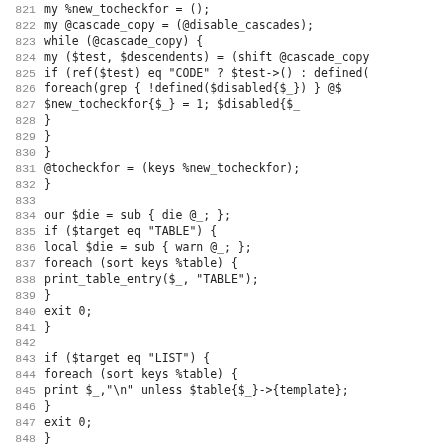[Figure (screenshot): Source code listing in a monospace font showing Perl code lines 821-852, with line numbers on the left in gray and code on the right in dark text.]